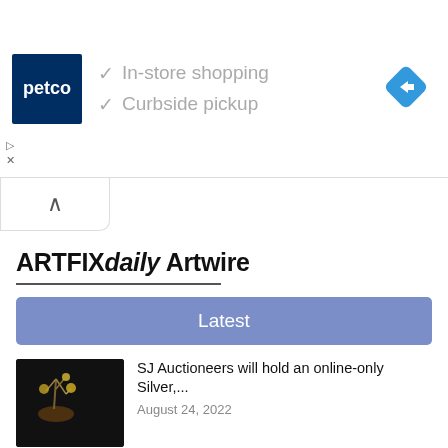[Figure (screenshot): Petco advertisement banner with logo, checkmarks for In-store shopping and Curbside pickup, and a blue navigation diamond icon on the right]
✓ In-store shopping
✓ Curbside pickup
[Figure (screenshot): Collapse/chevron tab UI element]
ARTFIXdaily Artwire
Latest
SJ Auctioneers will hold an online-only Silver,...
August 24, 2022
Hollis Taggart in Southport, Connecticut to Ope...
September 15, 2022